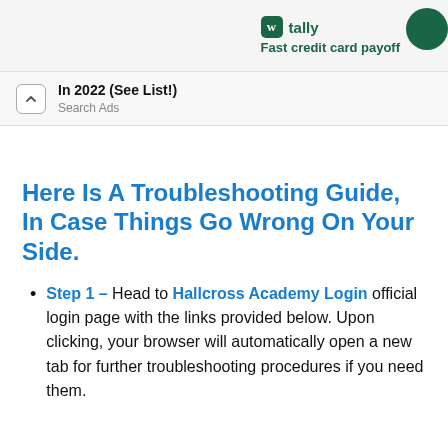tally Fast credit card payoff
In 2022 (See List!) Search Ads
Here Is A Troubleshooting Guide, In Case Things Go Wrong On Your Side.
Step 1 – Head to Hallcross Academy Login official login page with the links provided below. Upon clicking, your browser will automatically open a new tab for further troubleshooting procedures if you need them.